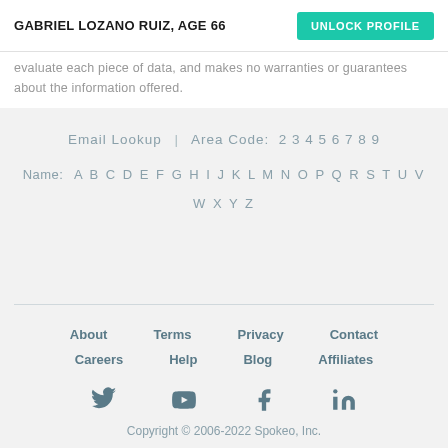GABRIEL LOZANO RUIZ, AGE 66
evaluate each piece of data, and makes no warranties or guarantees about the information offered.
Email Lookup  |  Area Code:  2 3 4 5 6 7 8 9
Name:  A B C D E F G H I J K L M N O P Q R S T U V W X Y Z
About  Terms  Privacy  Contact  Careers  Help  Blog  Affiliates
Copyright © 2006-2022 Spokeo, Inc.